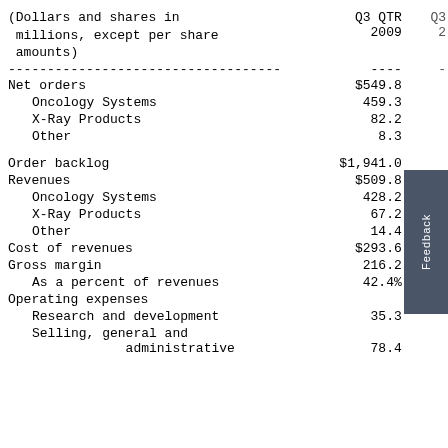| (Dollars and shares in millions, except per share amounts) | Q3 QTR 2009 | Q3 |
| --- | --- | --- |
| ----------------------------------- | ---- | - |
| Net orders | $549.8 |  |
|   Oncology Systems | 459.3 |  |
|   X-Ray Products | 82.2 |  |
|   Other | 8.3 |  |
|  |  |  |
| Order backlog | $1,941.0 |  |
| Revenues | $509.8 |  |
|   Oncology Systems | 428.2 |  |
|   X-Ray Products | 67.2 |  |
|   Other | 14.4 |  |
| Cost of revenues | $293.6 |  |
| Gross margin | 216.2 |  |
|   As a percent of revenues | 42.4% |  |
| Operating expenses |  |  |
|   Research and development | 35.3 |  |
|   Selling, general and administrative | 78.4 |  |